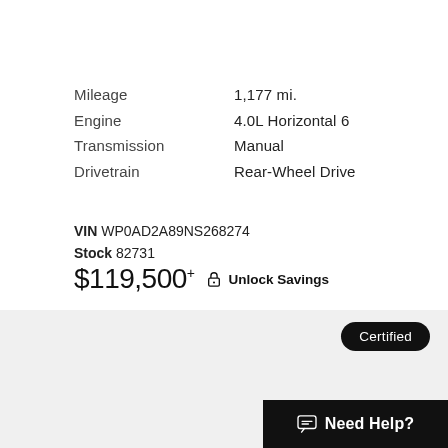Mileage   1,177 mi.
Engine   4.0L Horizontal 6
Transmission   Manual
Drivetrain   Rear-Wheel Drive
VIN WP0AD2A89NS268274
Stock 82731
$119,500* 🔒 Unlock Savings
Certified
2021 Porsche
718 Cayman GTS 4.0
Need Help?